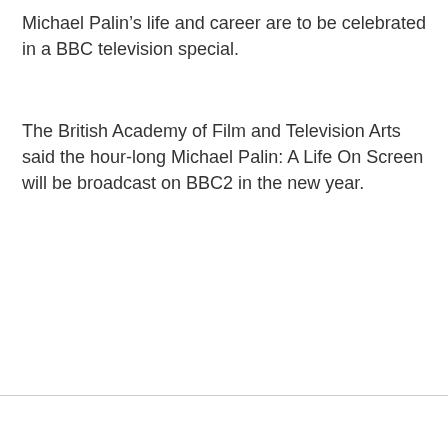Michael Palin's life and career are to be celebrated in a BBC television special.
The British Academy of Film and Television Arts said the hour-long Michael Palin: A Life On Screen will be broadcast on BBC2 in the new year.